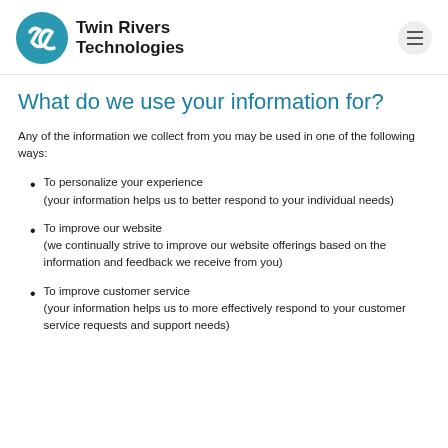[Figure (logo): Twin Rivers Technologies logo with teal swirl icon and bold black text]
What do we use your information for?
Any of the information we collect from you may be used in one of the following ways:
To personalize your experience (your information helps us to better respond to your individual needs)
To improve our website (we continually strive to improve our website offerings based on the information and feedback we receive from you)
To improve customer service (your information helps us to more effectively respond to your customer service requests and support needs)